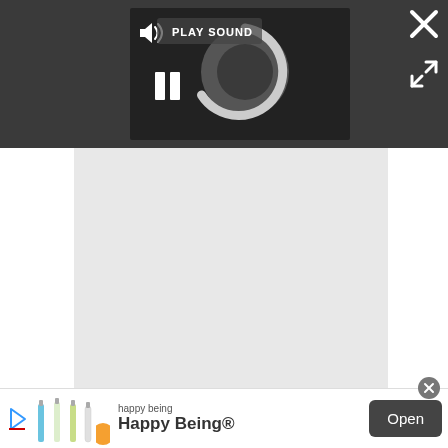[Figure (screenshot): Media player UI overlay on dark background showing a loading spinner (circle with arc), a speaker/sound icon with 'PLAY SOUND' label, and a pause button (two vertical bars). Dark charcoal background.]
[Figure (screenshot): Close (X) button in top-right corner of the dark overlay, white X symbol.]
[Figure (screenshot): Expand/fullscreen arrows button below the X button on the right side.]
[Figure (screenshot): Large light grey content area below the dark media player overlay, representing a blank/loading document page area.]
[Figure (screenshot): Advertisement banner at the bottom: shows 'happy being' text above 'Happy Being®' in bold, several drink/bottle product images on the left, a play/arrow icon on far left, and an 'Open' button on the right in dark grey. A circular close button (X) appears at top-right of ad.]